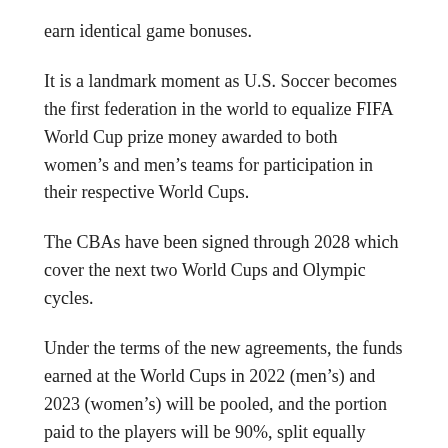earn identical game bonuses.
It is a landmark moment as U.S. Soccer becomes the first federation in the world to equalize FIFA World Cup prize money awarded to both women’s and men’s teams for participation in their respective World Cups.
The CBAs have been signed through 2028 which cover the next two World Cups and Olympic cycles.
Under the terms of the new agreements, the funds earned at the World Cups in 2022 (men’s) and 2023 (women’s) will be pooled, and the portion paid to the players will be 90%, split equally between members of the two squads, with U.S. Soccer earning the remaining 10%.
In 2026 and 2027, the players will split 80% of the pooled prize